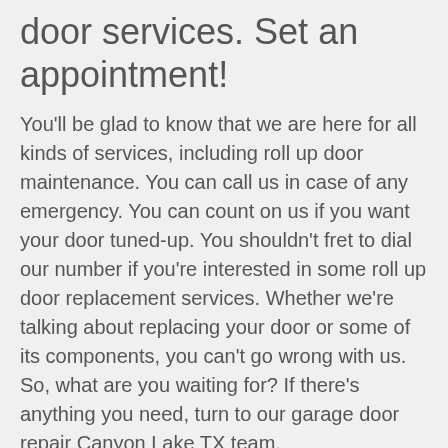door services. Set an appointment!
You'll be glad to know that we are here for all kinds of services, including roll up door maintenance. You can call us in case of any emergency. You can count on us if you want your door tuned-up. You shouldn't fret to dial our number if you're interested in some roll up door replacement services. Whether we're talking about replacing your door or some of its components, you can't go wrong with us. So, what are you waiting for? If there's anything you need, turn to our garage door repair Canyon Lake TX team.
WE ARE AVAILABLE FOR EXPERT ROLL UP DOOR